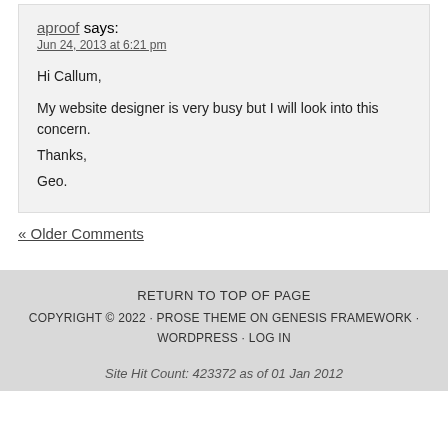aproof says:
Jun 24, 2013 at 6:21 pm

Hi Callum,

My website designer is very busy but I will look into this concern.
Thanks,
Geo.
« Older Comments
RETURN TO TOP OF PAGE
COPYRIGHT © 2022 · PROSE THEME ON GENESIS FRAMEWORK · WORDPRESS · LOG IN
Site Hit Count: 423372 as of 01 Jan 2012